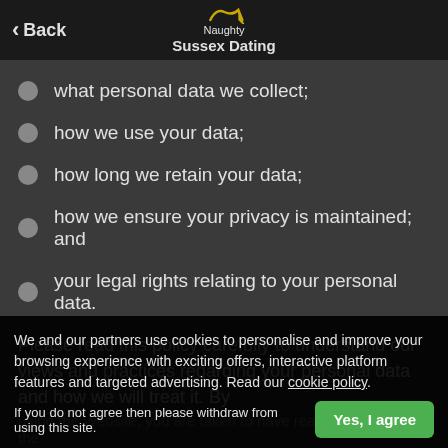Back | Naughty Sussex Dating
what personal data we collect;
how we use your data;
how long we retain your data;
how we ensure your privacy is maintained; and
your legal rights relating to your personal data.
Please read this policy carefully to understand our views and practices regarding your personal data and how we will treat it. By using the Website, you are taken to have read and agreed to the collection, use, disclosure and handling of your personal information in accordance with this Policy.
We and our partners use cookies to personalise and improve your browsing experience with exciting offers, interactive platform features and targeted advertising. Read our cookie policy.
If you do not agree then please withdraw from using this site.
Sharing your information with our other w...